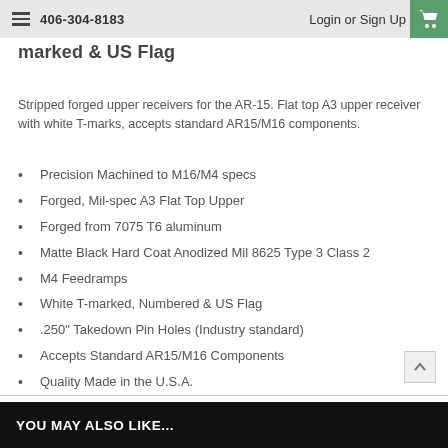406-304-8183   Login or Sign Up
marked & US Flag
Stripped forged upper receivers for the AR-15. Flat top A3 upper receiver with white T-marks, accepts standard AR15/M16 components.
Precision Machined to M16/M4 specs
Forged, Mil-spec A3 Flat Top Upper
Forged from 7075 T6 aluminum
Matte Black Hard Coat Anodized Mil 8625 Type 3 Class 2
M4 Feedramps
White T-marked, Numbered & US Flag
.250" Takedown Pin Holes (Industry standard)
Accepts Standard AR15/M16 Components
Quality Made in the U.S.A.
YOU MAY ALSO LIKE...